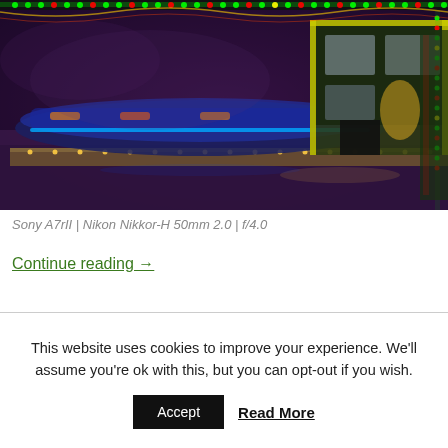[Figure (photo): Nighttime photo of a fairground ride with colorful LED lights (green, red, yellow) lining the structure. A bumper car ride and a ticket booth/operator cabin are visible. The scene is dark with vivid neon colors illuminating the ride machinery.]
Sony A7rII | Nikon Nikkor-H 50mm 2.0 | f/4.0
Continue reading →
This website uses cookies to improve your experience. We'll assume you're ok with this, but you can opt-out if you wish.
Accept
Read More